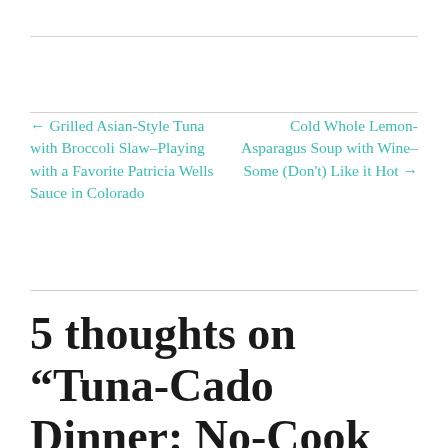← Grilled Asian-Style Tuna with Broccoli Slaw–Playing with a Favorite Patricia Wells Sauce in Colorado
Cold Whole Lemon-Asparagus Soup with Wine–Some (Don't) Like it Hot →
5 thoughts on “Tuna-Cado Dinner: No-Cook White Bean Salad with